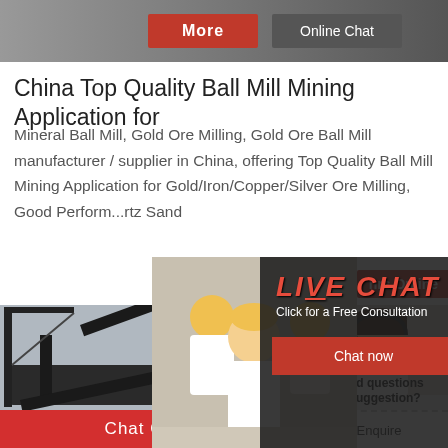[Figure (photo): Top banner with industrial machinery background, More button in red and Online Chat button in gray]
China Top Quality Ball Mill Mining Application for
Mineral Ball Mill, Gold Ore Milling, Gold Ore Ball Mill manufacturer / supplier in China, offering Top Quality Ball Mill Mining Application for Gold/Iron/Copper/Silver Ore Milling, Good Perform...rtz Sand
[Figure (photo): Live Chat popup overlay with workers in hard hats, showing LIVE CHAT heading, Click for a Free Consultation, Chat now and Chat later buttons]
[Figure (photo): Mining/crushing machinery equipment on conveyor belt and crane setup]
[Figure (photo): Right side panel: customer service representative with headset, Need questions & suggestion? text, Chat Now button]
Chat Online
Enquire